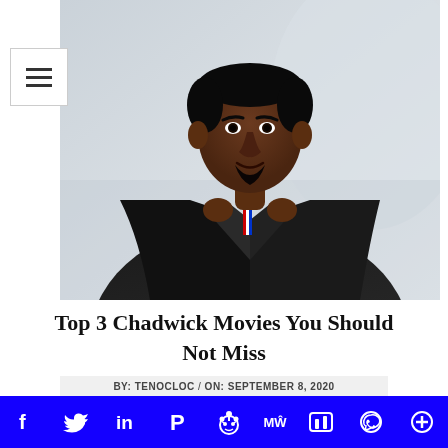[Figure (photo): Chadwick Boseman wearing a black jacket and a medal around his neck, with a blurred background]
Top 3 Chadwick Movies You Should Not Miss
BY: TENOCLOC / ON: SEPTEMBER 8, 2020
Top 3 Chadwick Boseman Movies You Should Not Miss: Chadwick Boseman also is known as Black
[Figure (other): Social sharing bar with icons: Facebook, Twitter, LinkedIn, Pinterest, Reddit, MeWe, Mix, WhatsApp, More]